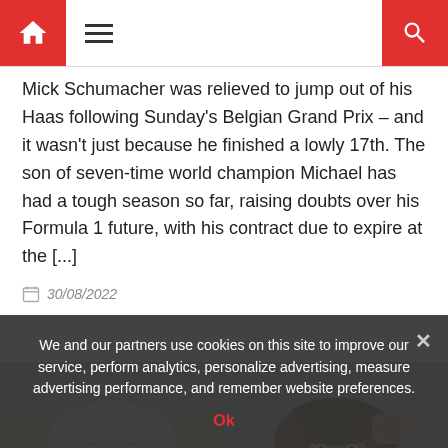Navigation header with home icon, hamburger menu, and search icon
Mick Schumacher was relieved to jump out of his Haas following Sunday's Belgian Grand Prix – and it wasn't just because he finished a lowly 17th. The son of seven-time world champion Michael has had a tough season so far, raising doubts over his Formula 1 future, with his contract due to expire at the [...]
30/08/2022
[Figure (photo): Left photo: elderly man with grey/white hair, green background]
[Figure (photo): Right photo: person with brown hair running hand through hair, blue/grey background]
We and our partners use cookies on this site to improve our service, perform analytics, personalize advertising, measure advertising performance, and remember website preferences.
Ok